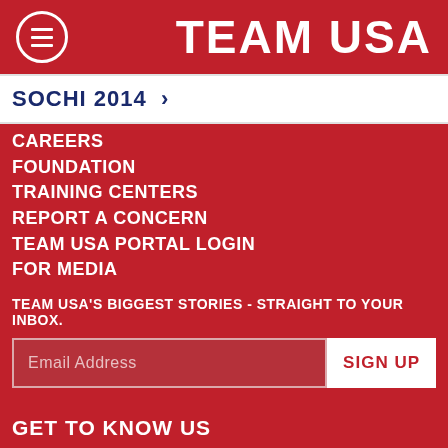TEAM USA
SOCHI 2014 >
CAREERS
FOUNDATION
TRAINING CENTERS
REPORT A CONCERN
TEAM USA PORTAL LOGIN
FOR MEDIA
TEAM USA'S BIGGEST STORIES - STRAIGHT TO YOUR INBOX.
Email Address
SIGN UP
GET TO KNOW US